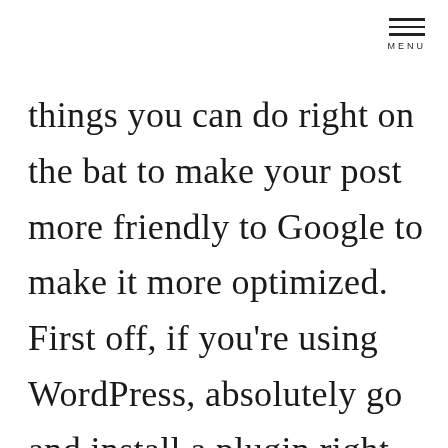MENU
things you can do right on the bat to make your post more friendly to Google to make it more optimized. First off, if you're using WordPress, absolutely go and install a plugin right now I use Yoast SEO, a lot of my clients, you